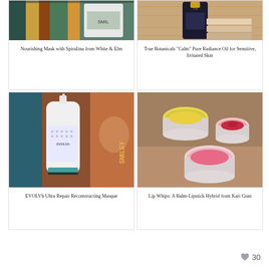[Figure (photo): Nourishing Mask with Spirulina product from White & Elm, shown with colorful book spines in the background]
Nourishing Mask with Spirulina from White & Elm
[Figure (photo): True Botanicals Calm Pure Radiance Oil bottle for Sensitive, Irritated Skin on wooden surface]
True Botanicals "Calm" Pure Radiance Oil for Sensitive, Irritated Skin
[Figure (photo): EVOLVh Ultra Repair Reconstructing Masque bottle with pump, shown against colorful background]
EVOLVh Ultra Repair Reconstructing Masque
[Figure (photo): Three small open jars of Lip Whips balm-lipstick hybrid from Kari Gran in yellow, pink, and red shades on wooden surface]
Lip Whips: A Balm-Lipstick Hybrid from Kari Gran